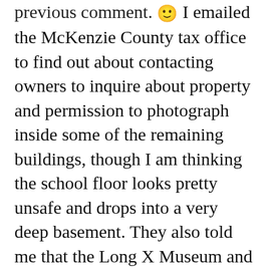previous comment. 🙂 I emailed the McKenzie County tax office to find out about contacting owners to inquire about property and permission to photograph inside some of the remaining buildings, though I am thinking the school floor looks pretty unsafe and drops into a very deep basement. They also told me that the Long X Museum and Visitor Center in Watford City has a lot of interesting information on the history of the area. I hope they have photos of Charbonneau in it's best of